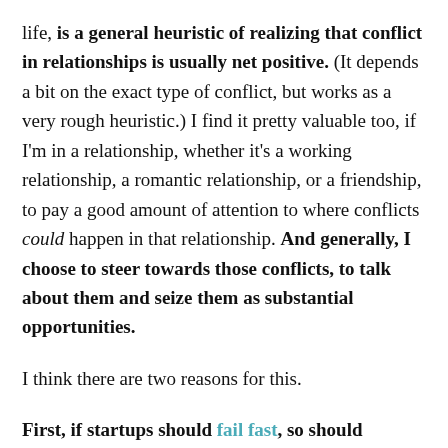life, is a general heuristic of realizing that conflict in relationships is usually net positive. (It depends a bit on the exact type of conflict, but works as a very rough heuristic.) I find it pretty valuable too, if I'm in a relationship, whether it's a working relationship, a romantic relationship, or a friendship, to pay a good amount of attention to where conflicts could happen in that relationship. And generally, I choose to steer towards those conflicts, to talk about them and seize them as substantial opportunities.
I think there are two reasons for this.
First, if startups should fail fast, so should relationships. The number of people you could have relationships with is much greater than the number of people that you will have relationships with. So there is a